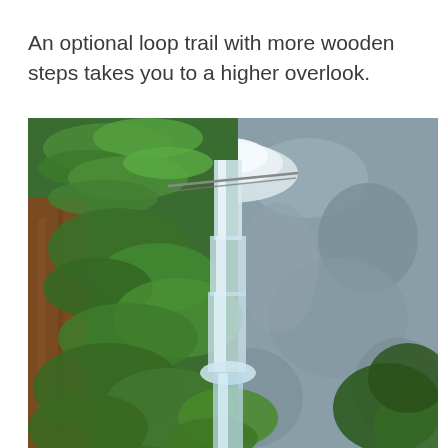An optional loop trail with more wooden steps takes you to a higher overlook.
[Figure (photo): A tall waterfall cascading down a rocky cliff face surrounded by lush green ferns and moss-covered rocks, with a large tree trunk visible on the left side.]